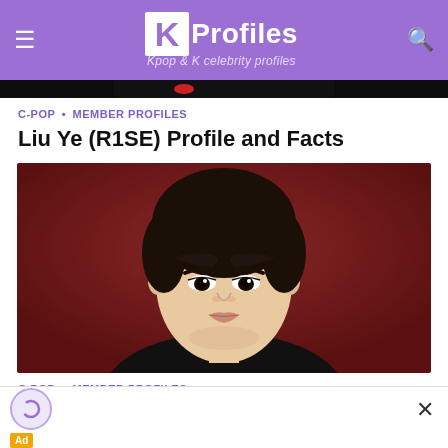KProfiles – Kpop & K celebrity profiles
[Figure (photo): Dark banner image strip at top of article]
C-POP • MEMBER PROFILES
Liu Ye (R1SE) Profile and Facts
[Figure (photo): Portrait photo of Liu Ye from R1SE, young Asian male with dark hair and bangs, wearing a dark suit, against a dark red background]
C-POP • MEMBER PROFILES
[Figure (other): Advertisement banner at bottom with ad icon and close button]